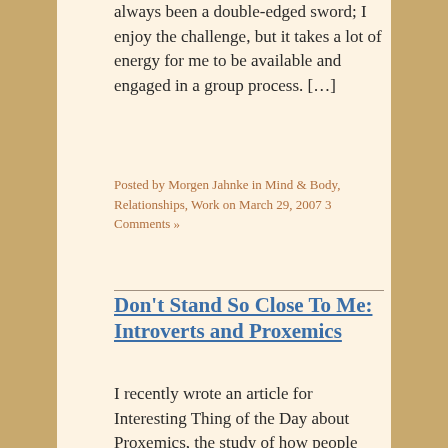always been a double-edged sword; I enjoy the challenge, but it takes a lot of energy for me to be available and engaged in a group process. […]
Posted by Morgen Jahnke in Mind & Body, Relationships, Work on March 29, 2007 3 Comments »
Don't Stand So Close To Me: Introverts and Proxemics
I recently wrote an article for Interesting Thing of the Day about Proxemics, the study of how people manage the space around them. This has obvious resonance for introverts, who often find interactions